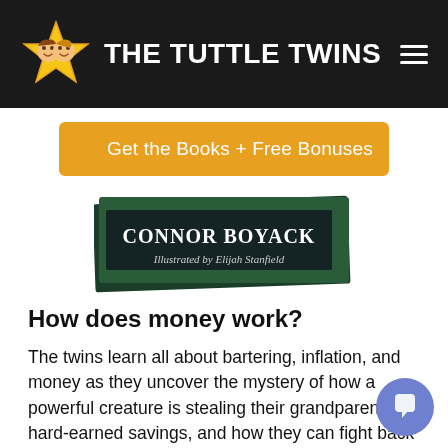THE TUTTLE TWINS
[Figure (screenshot): Orange button: Get the Books + Free Bonuses]
[Figure (photo): Book cover showing CONNOR BOYACK, Illustrated by Elijah Stanfield]
How does money work?
The twins learn all about bartering, inflation, and money as they uncover the mystery of how a powerful creature is stealing their grandparents' hard-earned savings, and how they can fight back to protect the money they make in their family business!